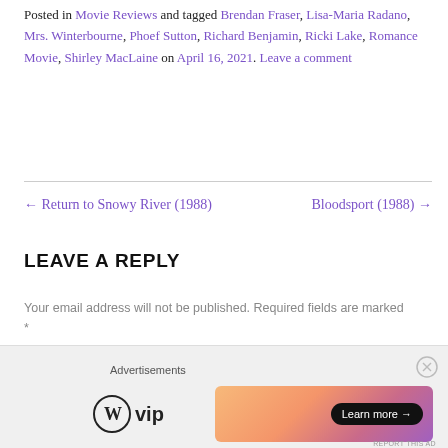Posted in Movie Reviews and tagged Brendan Fraser, Lisa-Maria Radano, Mrs. Winterbourne, Phoef Sutton, Richard Benjamin, Ricki Lake, Romance Movie, Shirley MacLaine on April 16, 2021. Leave a comment
← Return to Snowy River (1988)    Bloodsport (1988) →
LEAVE A REPLY
Your email address will not be published. Required fields are marked *
[Figure (other): WordPress VIP logo and advertisement banner with gradient background and Learn more button]